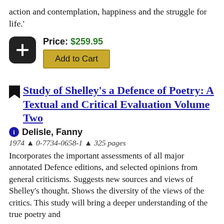action and contemplation, happiness and the struggle for life.'
Price: $259.95
Add to Cart
Study of Shelley's a Defence of Poetry: A Textual and Critical Evaluation Volume Two
Delisle, Fanny
1974 ▲ 0-7734-0658-1 ▲ 325 pages
Incorporates the important assessments of all major annotated Defence editions, and selected opinions from general criticisms. Suggests new sources and views of Shelley's thought. Shows the diversity of the views of the critics. This study will bring a deeper understanding of the true poetry and